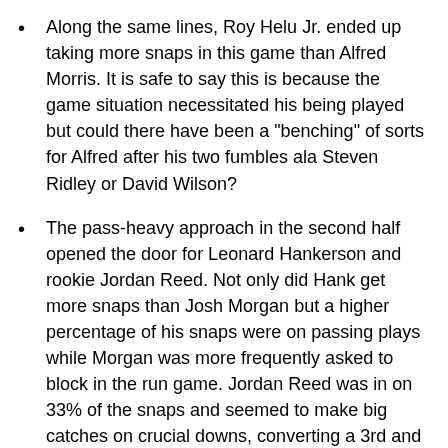Along the same lines, Roy Helu Jr. ended up taking more snaps in this game than Alfred Morris. It is safe to say this is because the game situation necessitated his being played but could there have been a "benching" of sorts for Alfred after his two fumbles ala Steven Ridley or David Wilson?
The pass-heavy approach in the second half opened the door for Leonard Hankerson and rookie Jordan Reed. Not only did Hank get more snaps than Josh Morgan but a higher percentage of his snaps were on passing plays while Morgan was more frequently asked to block in the run game. Jordan Reed was in on 33% of the snaps and seemed to make big catches on crucial downs, converting a 3rd and 4th down on two different drives.